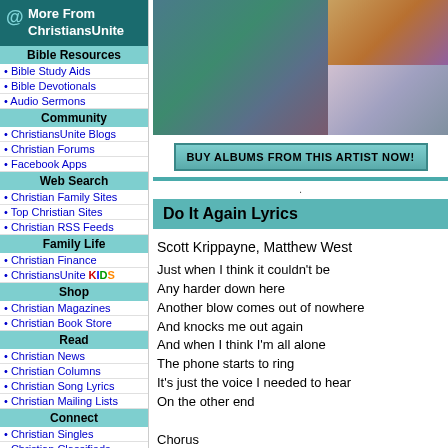More From ChristiansUnite
Bible Resources
Bible Study Aids
Bible Devotionals
Audio Sermons
Community
ChristiansUnite Blogs
Christian Forums
Facebook Apps
Web Search
Christian Family Sites
Top Christian Sites
Christian RSS Feeds
Family Life
Christian Finance
ChristiansUnite KIDS
Shop
Christian Magazines
Christian Book Store
Read
Christian News
Christian Columns
Christian Song Lyrics
Christian Mailing Lists
Connect
Christian Singles
Christian Classifieds
Graphics
Free Christian Clipart
Christian Wallpaper
Fun Stuff
Clean Christian Jokes
[Figure (photo): Artist photos collage]
BUY ALBUMS FROM THIS ARTIST NOW!
Do It Again Lyrics
Scott Krippayne, Matthew West
Just when I think it couldn't be
Any harder down here
Another blow comes out of nowhere
And knocks me out again
And when I think I'm all alone
The phone starts to ring
It's just the voice I needed to hear
On the other end

Chorus
You do it again, You do it again
You speak to me just like a friend
You always seem to show up right on time